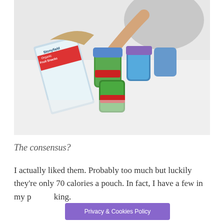[Figure (photo): A child reaching across a white table with an open box of Stonyfield Organic Fruit Snacks and several individual pouches of the product scattered on the table.]
The consensus?
I actually liked them. Probably too much but luckily they're only 70 calories a pouch. In fact, I have a few in my p... king.